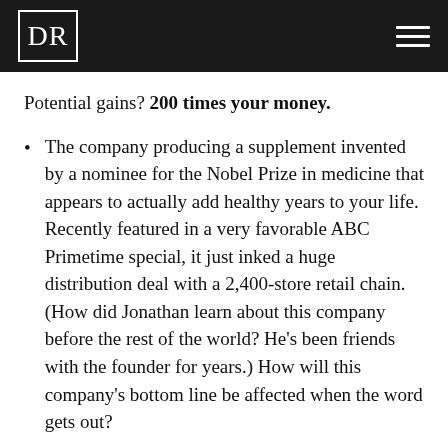DR
Potential gains? 200 times your money.
The company producing a supplement invented by a nominee for the Nobel Prize in medicine that appears to actually add healthy years to your life. Recently featured in a very favorable ABC Primetime special, it just inked a huge distribution deal with a 2,400-store retail chain. (How did Jonathan learn about this company before the rest of the world? He’s been friends with the founder for years.) How will this company’s bottom line be affected when the word gets out?